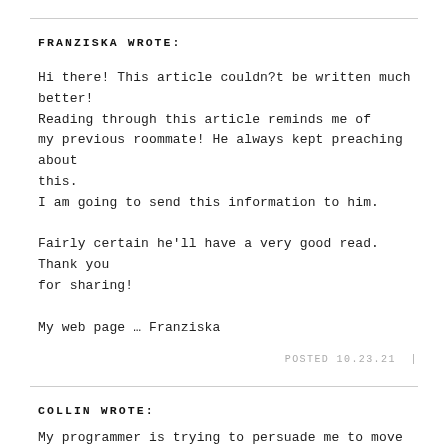FRANZISKA WROTE:
Hi there! This article couldn?t be written much better! Reading through this article reminds me of my previous roommate! He always kept preaching about this.
I am going to send this information to him.

Fairly certain he'll have a very good read. Thank you for sharing!

My web page … Franziska
POSTED 10.23.21  |
COLLIN WROTE:
My programmer is trying to persuade me to move to .net